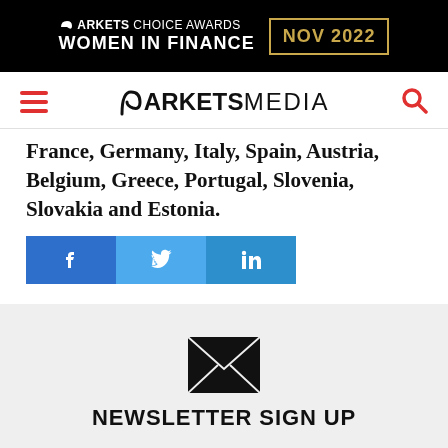[Figure (logo): Markets Choice Awards Women in Finance NOV 2022 banner advertisement on black background with gold border date box]
[Figure (logo): Markets Media website navigation bar with hamburger menu (red), Markets Media logo, and red search icon]
France, Germany, Italy, Spain, Austria, Belgium, Greece, Portugal, Slovenia, Slovakia and Estonia.
[Figure (infographic): Social share buttons: Facebook (blue), Twitter (light blue), LinkedIn (blue) with respective icons]
[Figure (infographic): Newsletter sign up section with envelope icon on light grey background]
NEWSLETTER SIGN UP